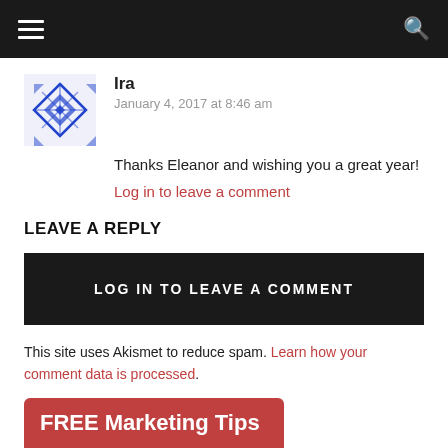Navigation bar with menu and search icons
Ira
January 4, 2017 at 8:46 am
Thanks Eleanor and wishing you a great year!
Log in to leave a comment
LEAVE A REPLY
LOG IN TO LEAVE A COMMENT
This site uses Akismet to reduce spam. Learn how your comment data is processed.
FREE Marketing Tips